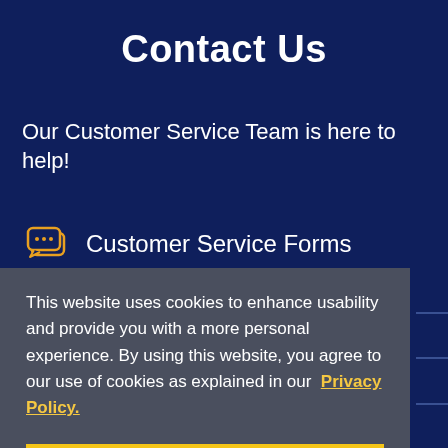Contact Us
Our Customer Service Team is here to help!
Customer Service Forms
This website uses cookies to enhance usability and provide you with a more personal experience. By using this website, you agree to our use of cookies as explained in our Privacy Policy.
Agree